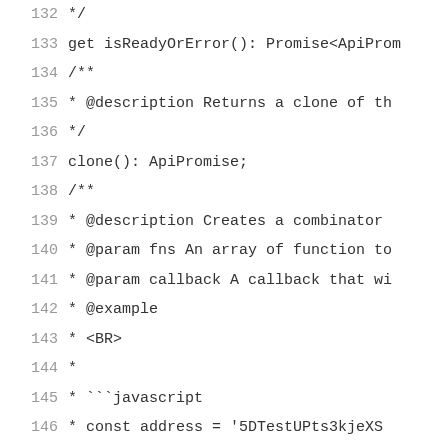Code listing lines 132-149, showing TypeScript/JavaScript API documentation comments and method signatures including isReadyOrError(), clone(): ApiPromise, and combineLatest with JSDoc comments.